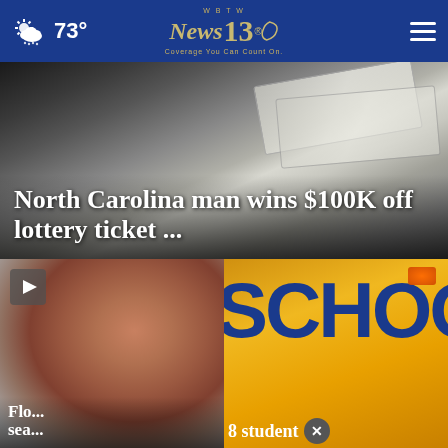WBTW News 13 — Coverage You Can Count On. 73°
[Figure (photo): Close-up of stacked US $100 dollar bills]
North Carolina man wins $100K off lottery ticket ...
[Figure (photo): Woman's face with reddish lighting, video thumbnail with play button]
Flo... sea... missing
[Figure (photo): Yellow school bus with SCHOOL text visible in blue letters]
8 student × crash in
[Figure (other): Ad banner: Adopt a teen. You can't imagine the reward. AdoptUSKids logo and HHS ad badge.]